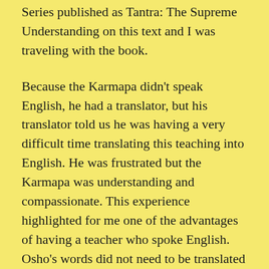Series published as Tantra: The Supreme Understanding on this text and I was traveling with the book.
Because the Karmapa didn't speak English, he had a translator, but his translator told us he was having a very difficult time translating this teaching into English. He was frustrated but the Karmapa was understanding and compassionate. This experience highlighted for me one of the advantages of having a teacher who spoke English. Osho's words did not need to be translated and we were able to hear them directly without a filter.
I am grateful for having had the opportunity to first spend some time with the Karmapa and